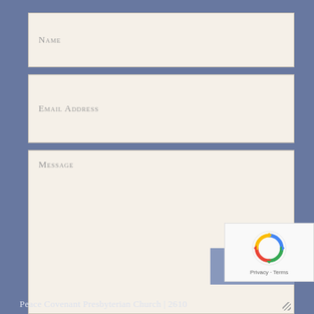Name
Email Address
Message
SUBMIT
[Figure (logo): reCAPTCHA logo with circular arrows icon and Privacy - Terms links]
Peace Covenant Presbyterian Church | 2610